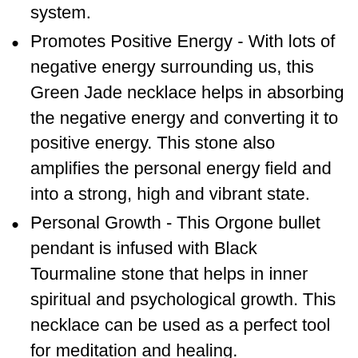system.
Promotes Positive Energy - With lots of negative energy surrounding us, this Green Jade necklace helps in absorbing the negative energy and converting it to positive energy. This stone also amplifies the personal energy field and into a strong, high and vibrant state.
Personal Growth - This Orgone bullet pendant is infused with Black Tourmaline stone that helps in inner spiritual and psychological growth. This necklace can be used as a perfect tool for meditation and healing.
Frees Negativity - The Black Tourmaline crystal helps in purifying and cleansing dense energy that relieves your inner stress, anxiety, fear, and